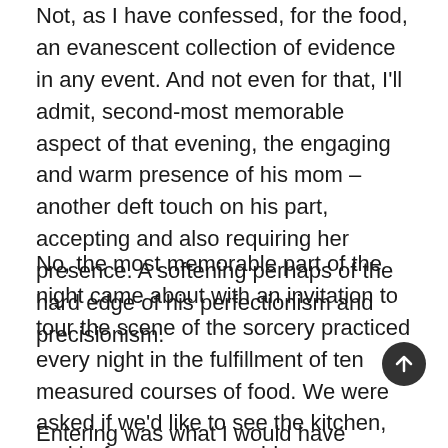Not, as I have confessed, for the food, an evanescent collection of evidence in any event. And not even for that, I'll admit, second-most memorable aspect of that evening, the engaging and warm presence of his mom – another deft touch on his part, accepting and also requiring her presence. A softening perhaps of the hard edge of his perfectionism and precisionism.
No, the most memorable part of the night came about with an invitation to tour the scene of the sorcery practiced every night in the fulfillment of ten measured courses of food. We were asked if we'd like to see the kitchen, and before anyone could say anything, I responded with an emphatic yes.
Entering was what I would have imagined it to